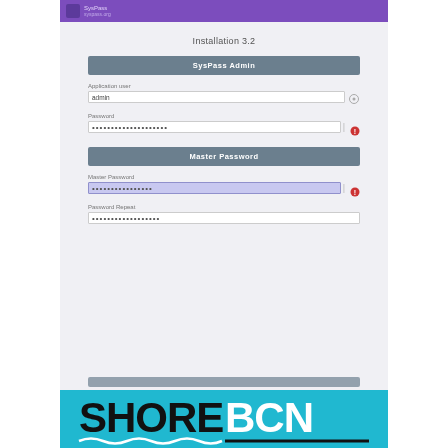[Figure (screenshot): Mobile app screenshot showing Installation 3.2 screen with SysPass Admin and Master Password sections, form fields for username/password, and eye/error icons.]
[Figure (logo): SHOREBCN logo on cyan/teal background with wave underline decoration.]